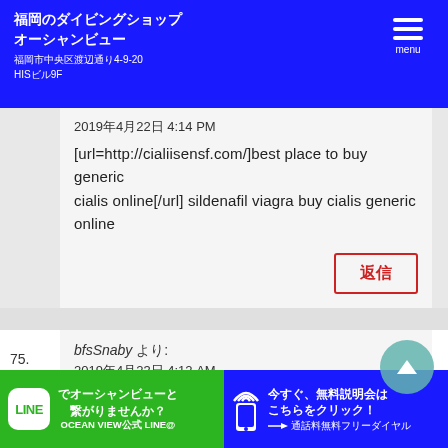福岡のダイビングショップ オーシャンビュー 福岡市中央区渡辺通り4-9-20 HISビル9F
2019年4月22日 4:14 PM [url=http://cialiisensf.com/]best place to buy generic cialis online[/url] sildenafil viagra buy cialis generic online
75. bfsSnaby より: 2019年4月23日 4:12 AM [url=http://xxxcialisgt.com/]buy generic cialis online safely[/url] cialis tadalafil viagra cialis online pharmacy
LINEでオーシャンビューと繋がりませんか？ OCEAN VIEW公式 LINE@ 今すぐ、無料説明会はこちらをクリック！ 通話料無料フリーダイヤル